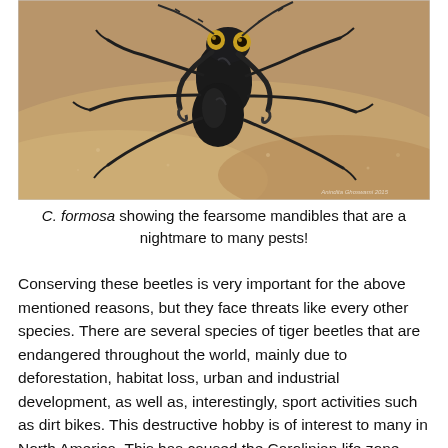[Figure (photo): Close-up macro photograph of C. formosa (tiger beetle) on sandy ground, showing its large mandibles and long legs. The beetle is dark/black colored against pale sand. A small watermark appears in the bottom-right corner of the photo.]
C. formosa showing the fearsome mandibles that are a nightmare to many pests!
Conserving these beetles is very important for the above mentioned reasons, but they face threats like every other species. There are several species of tiger beetles that are endangered throughout the world, mainly due to deforestation, habitat loss, urban and industrial development, as well as, interestingly, sport activities such as dirt bikes. This destructive hobby is of interest to many in North America. This has caused the Carolinian life zone, which is rich in sand, and hence supposedly ideal for this sport, to be prone to bikes that produce emissions and even health risking dust, among other...